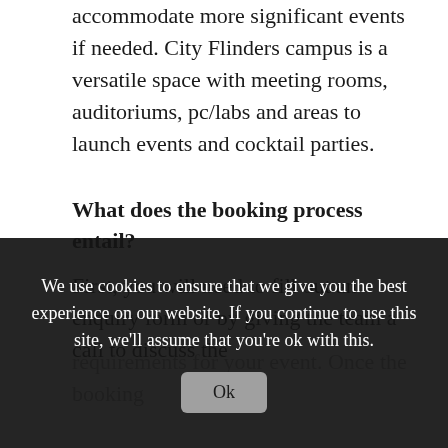accommodate more significant events if needed. City Flinders campus is a versatile space with meeting rooms, auditoriums, pc/labs and areas to launch events and cocktail parties.
What does the booking process entail?
First, you will need to fill out an enquiry form or by giving the team a call to discuss the requirements for your event. Once the booking ... booked earlier than ... to secure the best spots or areas to conduct an event.
We use cookies to ensure that we give you the best experience on our website. If you continue to use this site, we'll assume that you're ok with this.